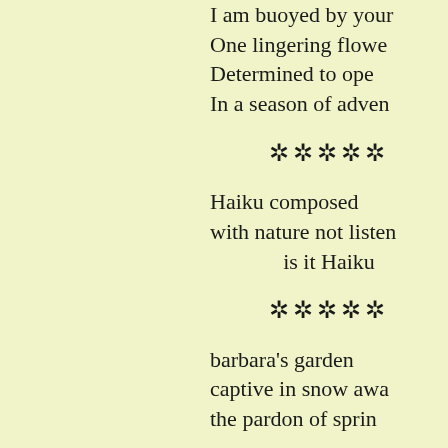I am buoyed by your
One lingering flow
Determined to ope
In a season of adver
✲✲✲✲✲
Haiku composed
with nature not lister
is it Haiku
✲✲✲✲✲
barbara's garden
captive in snow awa
the pardon of sprin
✲✲✲✲✲
THE NEXT LIFE
I decline a ridiculous re
You angrily sugge
In our next life I will re
Keep in mind, my dea